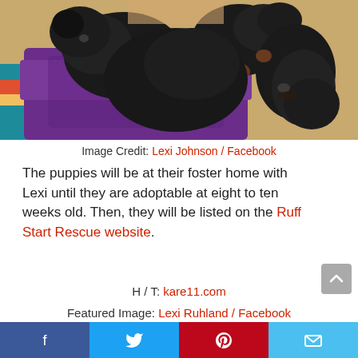[Figure (photo): Several black and brown puppies huddled together on colorful blankets (purple, teal, red striped) in a warm indoor setting.]
Image Credit: Lexi Johnson / Facebook
The puppies will be at their foster home with Lexi until they are adoptable at eight to ten weeks old. Then, they will be listed on the Ruff Start Rescue website.
H / T: kare11.com
Featured Image: Lexi Ruhland / Facebook